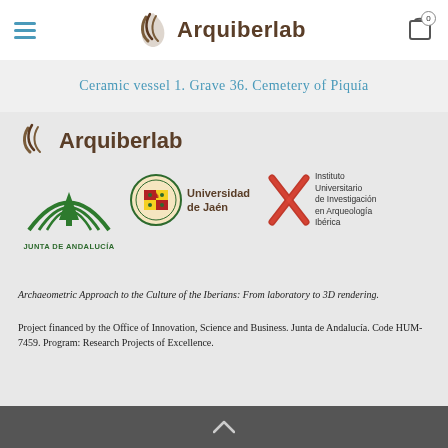Arquiberlab
Ceramic vessel 1. Grave 36. Cemetery of Piquía
[Figure (logo): Arquiberlab logo with leaf icon and brown text]
[Figure (logo): Junta de Andalucía logo: green arch with tree, text JUNTA DE ANDALUCÍA]
[Figure (logo): Universidad de Jaén circular seal logo with text Universidad de Jaén]
[Figure (logo): Instituto Universitario de Investigación en Arqueología Ibérica logo with orange-red X mark]
Archaeometric Approach to the Culture of the Iberians: From laboratory to 3D rendering.
Project financed by the Office of Innovation, Science and Business. Junta de Andalucía. Code HUM-7459. Program: Research Projects of Excellence.
^